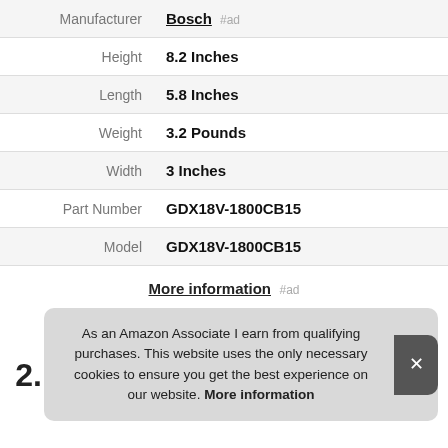| Attribute | Value |
| --- | --- |
| Manufacturer | Bosch |
| Height | 8.2 Inches |
| Length | 5.8 Inches |
| Weight | 3.2 Pounds |
| Width | 3 Inches |
| Part Number | GDX18V-1800CB15 |
| Model | GDX18V-1800CB15 |
More information #ad
As an Amazon Associate I earn from qualifying purchases. This website uses the only necessary cookies to ensure you get the best experience on our website. More information